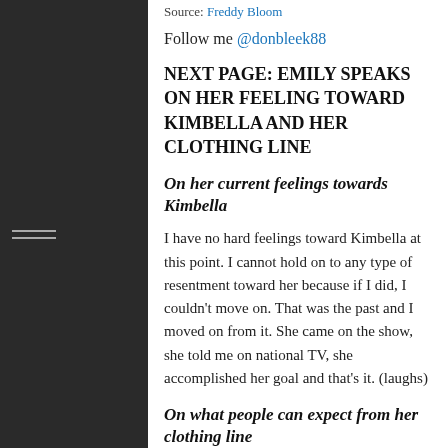Source: Freddy Bloom
Follow me @donbleek88
NEXT PAGE: EMILY SPEAKS ON HER FEELING TOWARD KIMBELLA AND HER CLOTHING LINE
On her current feelings towards Kimbella
I have no hard feelings toward Kimbella at this point. I cannot hold on to any type of resentment toward her because if I did, I couldn't move on. That was the past and I moved on from it. She came on the show, she told me on national TV, she accomplished her goal and that's it. (laughs)
On what people can expect from her clothing line
Well, the key thing is that it is going to